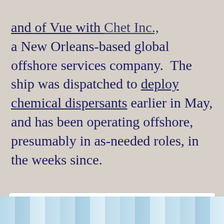a New Orleans-based global offshore services company. The ship was dispatched to deploy chemical dispersants earlier in May, and has been operating offshore, presumably in as-needed roles, in the weeks since.
Privacy & Cookies: This site uses cookies. By continuing to use this website, you agree to their use.
To find out more, including how to control cookies, see here: Cookie Policy
Close and accept
[Figure (photo): Partial view of a ship or offshore vessel against a light blue sky with clouds, showing structural elements like masts or cranes.]